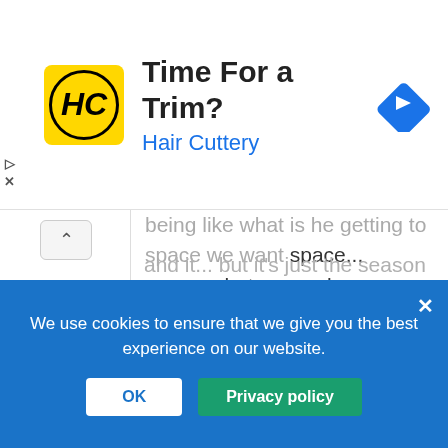[Figure (logo): Hair Cuttery advertisement banner with HC logo, title 'Time For a Trim?', subtitle 'Hair Cuttery', and navigation arrow icon]
being like what is he getting to space we want space... space... but as you know there's not a lack of space and other planets and adventure... this was a buildup to an amazing middle... absolute candor and stardust city rag were two extraordinary episodes... i feel like stardust city rag was the ep that tied it all together... character reveals... great humor... and 7 was just great and the scene between her and picard was perfect as was the episode even though some got their pearls in a bind with the graphic opening... the impossible box and nepenthe led us into the finale... nepenthe is not just great because of riker and it... but it's just the season you need because end it all... my only issue the first season... well 2 would be 1) the character arcs were a bit repetitive and 2) as they pass essentially... but
We use cookies to ensure that we give you the best experience on our website.
OK
Privacy policy